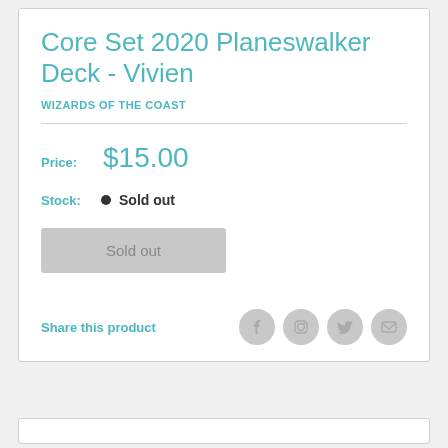Core Set 2020 Planeswalker Deck - Vivien
WIZARDS OF THE COAST
Price: $15.00
Stock: Sold out
Sold out
Share this product